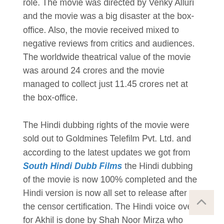Hindi audience. Mr. Majnu features Akhil Akkineni and Nidhhi Agerwal in the main lead role. The movie was directed by Venky Alluri and the movie was a big disaster at the box-office. Also, the movie received mixed to negative reviews from critics and audiences. The worldwide theatrical value of the movie was around 24 crores and the movie managed to collect just 11.45 crores net at the box-office.
The Hindi dubbing rights of the movie were sold out to Goldmines Telefilm Pvt. Ltd. and according to the latest updates we got from South Hindi Dubb Films the Hindi dubbing of the movie is now 100% completed and the Hindi version is now all set to release after the censor certification. The Hindi voice over for Akhil is done by Shah Noor Mirza who previously dubbed for Akhil in Taqdeer (Hello). Once the Censor Certificate of the Hindi version will be done and the television premiere date is announced we will update that one this page. After the television premiere, the movie will also get a YouTube release on the Goldmine Telefilsm youtube channel from where you can watch the full movie online in Hindi or you can also download it there offline (Offline download on YouTube).